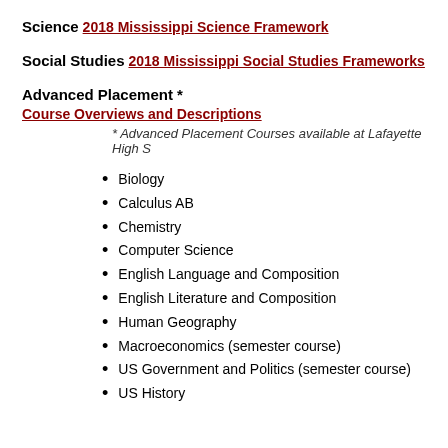Science
2018 Mississippi Science Framework
Social Studies
2018 Mississippi Social Studies Frameworks
Advanced Placement *
Course Overviews and Descriptions
* Advanced Placement Courses available at Lafayette High S
Biology
Calculus AB
Chemistry
Computer Science
English Language and Composition
English Literature and Composition
Human Geography
Macroeconomics (semester course)
US Government and Politics (semester course)
US History